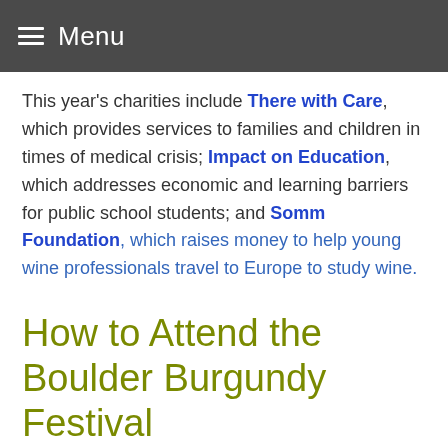Menu
This year's charities include There with Care, which provides services to families and children in times of medical crisis; Impact on Education, which addresses economic and learning barriers for public school students; and Somm Foundation, which raises money to help young wine professionals travel to Europe to study wine.
How to Attend the Boulder Burgundy Festival